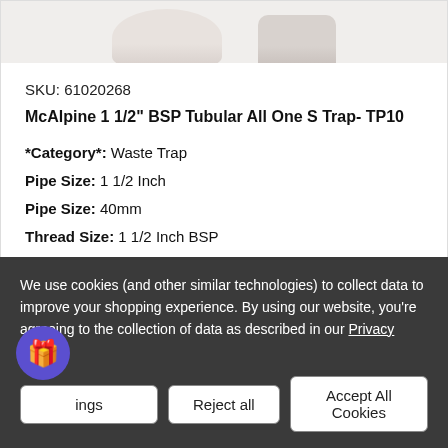[Figure (photo): Product images of McAlpine tubular S trap components on white/light gray background, partially cropped at top]
SKU: 61020268
McAlpine 1 1/2" BSP Tubular All One S Trap- TP10
*Category*: Waste Trap
Pipe Size: 1 1/2 Inch
Pipe Size: 40mm
Thread Size: 1 1/2 Inch BSP
We use cookies (and other similar technologies) to collect data to improve your shopping experience. By using our website, you're agreeing to the collection of data as described in our Privacy Policy.
Settings | Reject all | Accept All Cookies